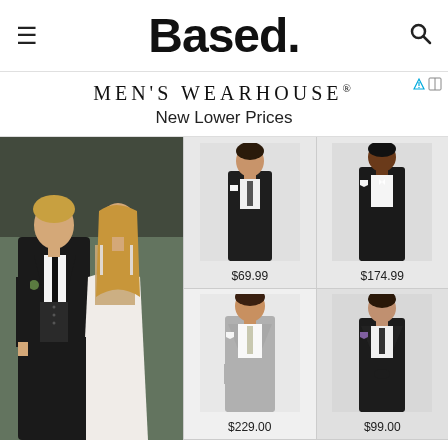≡  Based.  🔍
[Figure (screenshot): Men's Wearhouse advertisement banner with logo text 'MEN'S WEARHOUSE®' and tagline 'New Lower Prices']
[Figure (photo): Man in dark tuxedo with woman in white dress at outdoor wedding setting]
[Figure (photo): Young man in dark suit, price $69.99]
$69.99
[Figure (photo): Tall man in dark suit, price $174.99]
$174.99
[Figure (photo): Man in light grey suit, price $229.00]
$229.00
[Figure (photo): Man in dark suit, price $99.00]
$99.00